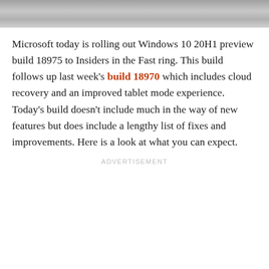[Figure (photo): Partial photo strip at top of page showing a gray/silver surface, likely a device or table.]
Microsoft today is rolling out Windows 10 20H1 preview build 18975 to Insiders in the Fast ring. This build follows up last week's build 18970 which includes cloud recovery and an improved tablet mode experience. Today's build doesn't include much in the way of new features but does include a lengthy list of fixes and improvements. Here is a look at what you can expect.
ADVERTISEMENT